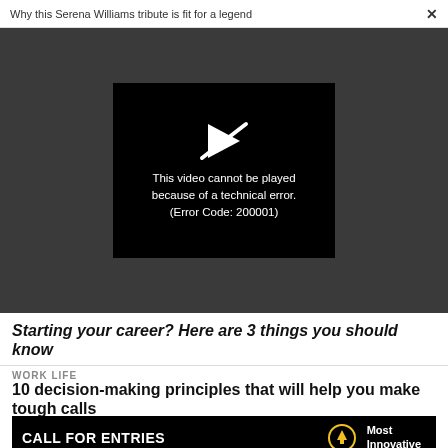Why this Serena Williams tribute is fit for a legend  ×
[Figure (screenshot): Video player showing error message on dark background. White play icon (crossed out). Text reads: This video cannot be played because of a technical error. (Error Code: 200001)]
Starting your career? Here are 3 things you should know
WORK LIFE
10 decision-making principles that will help you make tough calls
[Figure (infographic): Black banner ad: CALL FOR ENTRIES DEADLINE: SEPTEMBER 23 with lightbulb icon and text Most Innovative Companies]